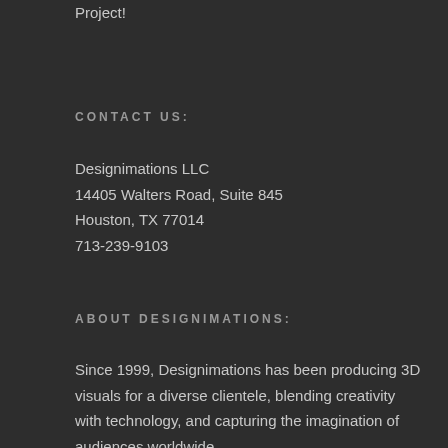Project!
CONTACT US:
Designimations LLC
14405 Walters Road, Suite 845
Houston, TX 77014
713-239-9103
ABOUT DESIGNIMATIONS:
Since 1999, Designimations has been producing 3D visuals for a diverse clientele, blending creativity with technology, and capturing the imagination of audiences worldwide.